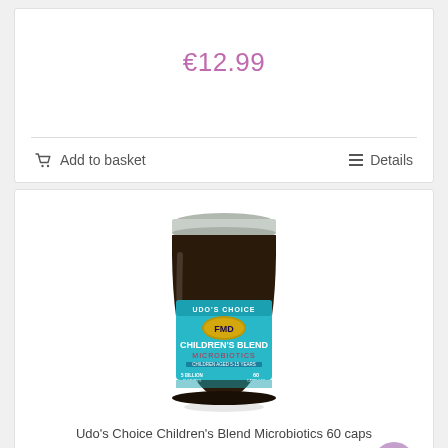€12.99
Add to basket
Details
[Figure (photo): A dark glass jar with a metal lid, labeled 'UDO'S CHOICE FMD Children's Blend Microbiotics', with a teal/cyan label, for children aged 5-15 years, 60 capsules.]
Udo's Choice Children's Blend Microbiotics 60 caps